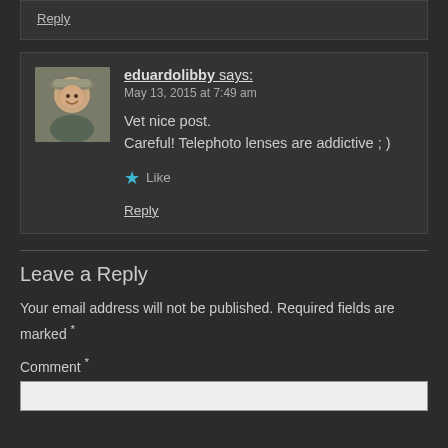Reply
[Figure (photo): Avatar photo of eduardolibby, a person wearing a hat outdoors]
eduardolibby says: May 13, 2015 at 7:49 am
Vet nice post. Careful! Telephoto lenses are addictive ; )
Like
Reply
Leave a Reply
Your email address will not be published. Required fields are marked *
Comment *